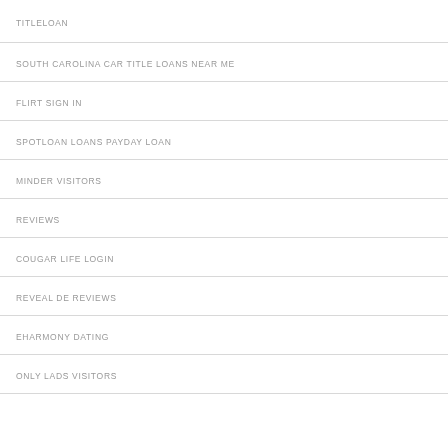TITLELOAN
SOUTH CAROLINA CAR TITLE LOANS NEAR ME
FLIRT SIGN IN
SPOTLOAN LOANS PAYDAY LOAN
MINDER VISITORS
REVIEWS
COUGAR LIFE LOGIN
REVEAL DE REVIEWS
EHARMONY DATING
ONLY LADS VISITORS